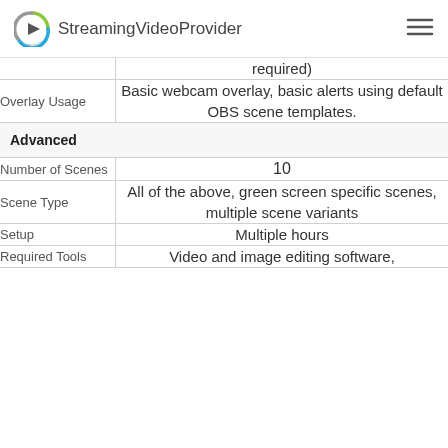StreamingVideoProvider
| Label | Value |
| --- | --- |
|  | required) |
| Overlay Usage | Basic webcam overlay, basic alerts using default OBS scene templates. |
| Advanced |  |
| Number of Scenes | 10 |
| Scene Type | All of the above, green screen specific scenes, multiple scene variants |
| Setup | Multiple hours |
| Required Tools | Video and image editing software, |